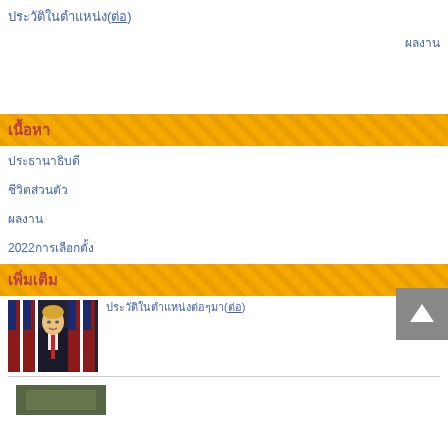ประวัติในตำแหน่ง(ต่อ)
ผลงาน
เนื้อหา
ประธานาธิบดี
ชีวิตส่วนตัว
ผลงาน
2022การเลือกตั้ง
เพิ่มเติม
[Figure (photo): Photo of Donald Trump in front of American flags]
ประวัติในตำแหน่งต่อๆมา(ต่อ)